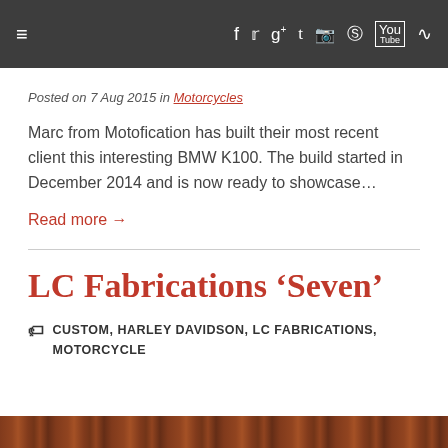≡  f  𝕥  g+  t  📷  𝗽  You  ☰
Posted on 7 Aug 2015 in Motorcycles
Marc from Motofication has built their most recent client this interesting BMW K100. The build started in December 2014 and is now ready to showcase…
Read more →
LC Fabrications 'Seven'
CUSTOM, HARLEY DAVIDSON, LC FABRICATIONS, MOTORCYCLE
[Figure (photo): Partial view of a wooden-textured surface or motorcycle component]